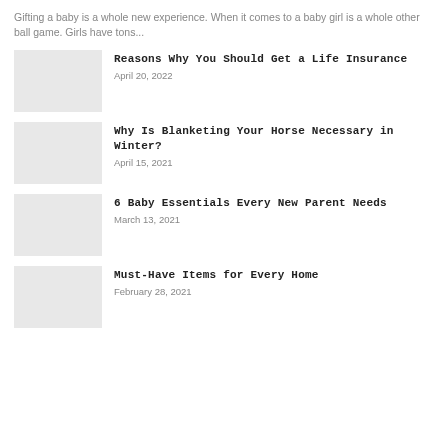Gifting a baby is a whole new experience. When it comes to a baby girl is a whole other ball game. Girls have tons...
Reasons Why You Should Get a Life Insurance
April 20, 2022
Why Is Blanketing Your Horse Necessary in Winter?
April 15, 2021
6 Baby Essentials Every New Parent Needs
March 13, 2021
Must-Have Items for Every Home
February 28, 2021